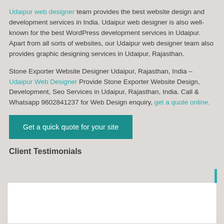Udaipur web designer team provides the best website design and development services in India. Udaipur web designer is also well-known for the best WordPress development services in Udaipur. Apart from all sorts of websites, our Udaipur web designer team also provides graphic designing services in Udaipur, Rajasthan.
Stone Exporter Website Designer Udaipur, Rajasthan, India – Udaipur Web Designer Provide Stone Exporter Website Design, Development, Seo Services in Udaipur, Rajasthan, India. Call & Whatsapp 9602841237 for Web Design enquiry, get a quote online.
[Figure (other): Teal call-to-action button with text 'Get a quick quote for your site']
Client Testimonials
[Figure (other): White testimonial card/box with teal accent bar on right side]